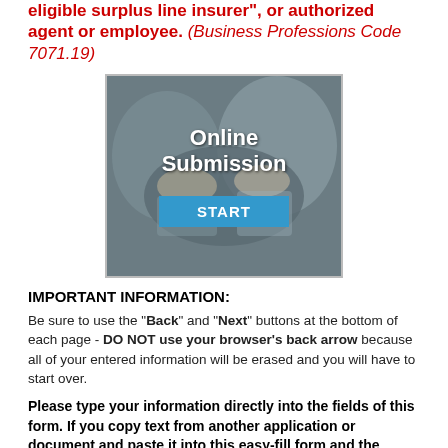eligible surplus line insurer", or authorized agent or employee. (Business Professions Code 7071.19)
[Figure (illustration): Online Submission banner with handshake background image and a blue START button]
IMPORTANT INFORMATION:
Be sure to use the "Back" and "Next" buttons at the bottom of each page - DO NOT use your browser's back arrow because all of your entered information will be erased and you will have to start over.
Please type your information directly into the fields of this form. If you copy text from another application or document and paste it into this easy-fill form and the